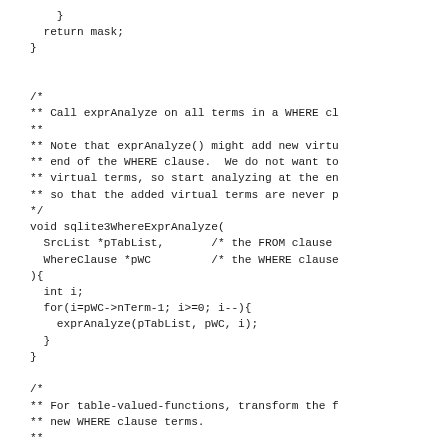}
  return mask;
}


/*
** Call exprAnalyze on all terms in a WHERE cl
**
** Note that exprAnalyze() might add new virtu
** end of the WHERE clause.  We do not want to
** virtual terms, so start analyzing at the en
** so that the added virtual terms are never p
*/
void sqlite3WhereExprAnalyze(
  SrcList *pTabList,       /* the FROM clause
  WhereClause *pWC         /* the WHERE clause
){
  int i;
  for(i=pWC->nTerm-1; i>=0; i--){
    exprAnalyze(pTabList, pWC, i);
  }
}

/*
** For table-valued-functions, transform the f
** new WHERE clause terms.
**
** Each function argument translates into an e